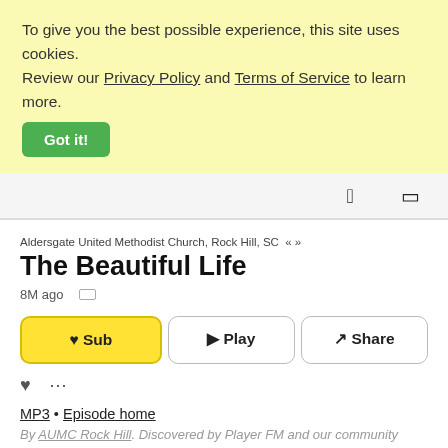To give you the best possible experience, this site uses cookies. Review our Privacy Policy and Terms of Service to learn more.
Got it!
Aldersgate United Methodist Church, Rock Hill, SC « »
The Beautiful Life
8M ago
Sub   Play   Share
MP3 • Episode home
By AUMC Rock Hill. Discovered by Player FM and our community